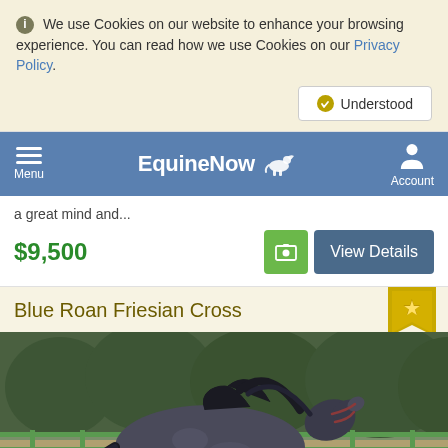We use Cookies on our website to enhance your browsing experience. You can read how we use Cookies on our Privacy Policy.
Understood
EquineNow — Menu | Account
a great mind and...
$9,500
View Details
Blue Roan Friesian Cross
[Figure (photo): A blue roan Friesian cross horse running or trotting in an arena with green fencing and trees in the background. The horse is dark grey/blue roan with a black mane and tail, wearing a halter.]